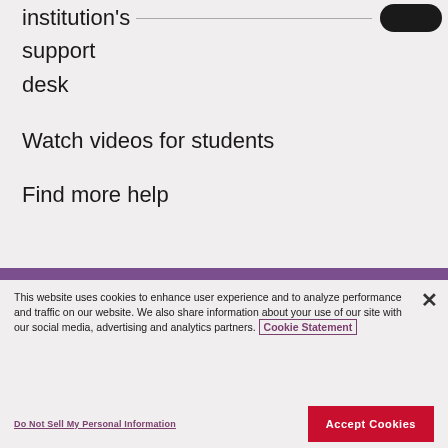institution's support desk
Watch videos for students
Find more help
This website uses cookies to enhance user experience and to analyze performance and traffic on our website. We also share information about your use of our site with our social media, advertising and analytics partners. Cookie Statement
Do Not Sell My Personal Information
Accept Cookies